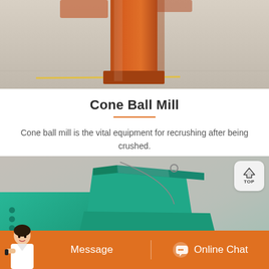[Figure (photo): Industrial equipment photo showing an orange/rust colored vertical pillar or post on a concrete floor with a yellow line marking]
Cone Ball Mill
Cone ball mill is the vital equipment for recrushing after being crushed.
[Figure (photo): Photo of a teal/green colored cone ball mill machine showing the feed chute and body of the equipment, with a 'TOP' back-to-top button overlay in the upper right corner]
Message
Online Chat